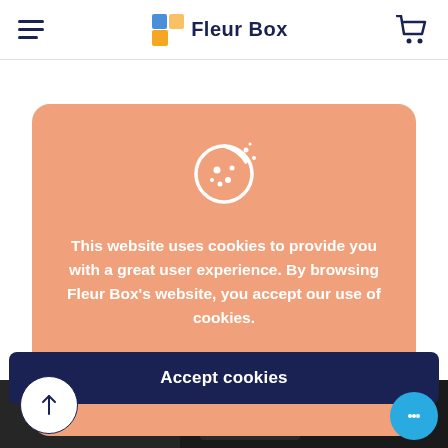Fleur Box
[Figure (screenshot): Cookie consent overlay on Fleur Box website with cookie icon, consent message, and Accept cookies button]
This website uses cookies to provide you with a great user experience. By browsing Fleur Box's website, you accept our use of cookies.
Accept cookies